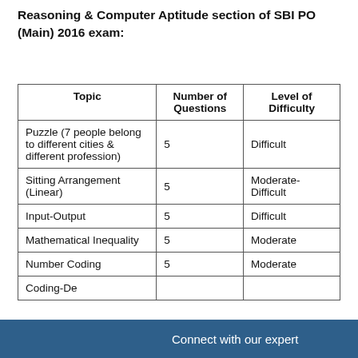Reasoning & Computer Aptitude section of SBI PO (Main) 2016 exam:
| Topic | Number of Questions | Level of Difficulty |
| --- | --- | --- |
| Puzzle (7 people belong to different cities & different profession) | 5 | Difficult |
| Sitting Arrangement (Linear) | 5 | Moderate-Difficult |
| Input-Output | 5 | Difficult |
| Mathematical Inequality | 5 | Moderate |
| Number Coding | 5 | Moderate |
| Coding-De... |  | ... |
Connect with our expert